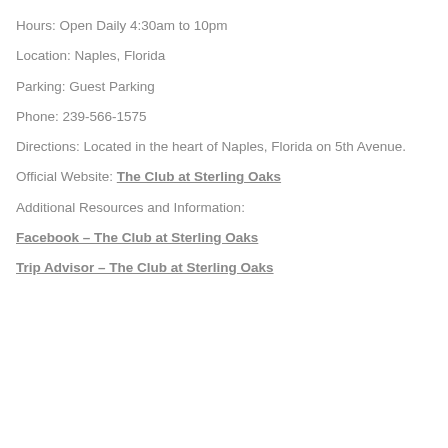Hours: Open Daily 4:30am to 10pm
Location: Naples, Florida
Parking: Guest Parking
Phone: 239-566-1575
Directions: Located in the heart of Naples, Florida on 5th Avenue.
Official Website: The Club at Sterling Oaks
Additional Resources and Information:
Facebook - The Club at Sterling Oaks
Trip Advisor - The Club at Sterling Oaks